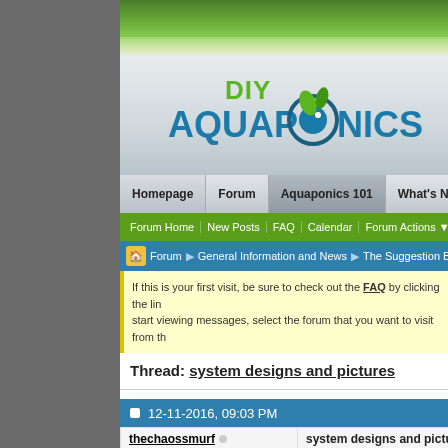[Figure (logo): DIY Aquaponics logo with green leaf and teal fish icon]
Homepage | Forum | Aquaponics 101 | What's New
Forum Home | New Posts | FAQ | Calendar | Forum Actions | Quick Links
Forum > General Information and News > The Suggestion B...
If this is your first visit, be sure to check out the FAQ by clicking the lin... start viewing messages, select the forum that you want to visit from th...
Thread: system designs and pictures
12-11-2016, 09:03 PM
thechaossmurf  system designs and pictu...